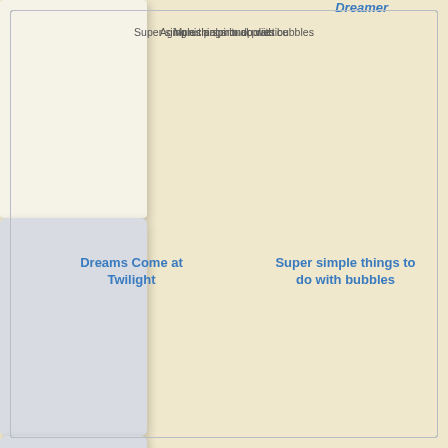Dreamer
[Figure (illustration): Blank off-white book cover card for 'Dreams Come at Twilight']
Dreams Come at Twilight
[Figure (illustration): Gray book cover card for 'Super simple things to do with bubbles' with title text inside]
Super simple things to do with bubbles
[Figure (illustration): Gray book cover card for 'Aging as a spiritual practice' with title text inside]
[Figure (illustration): Gray book cover card for 'Municipal monopolies' with title text inside]